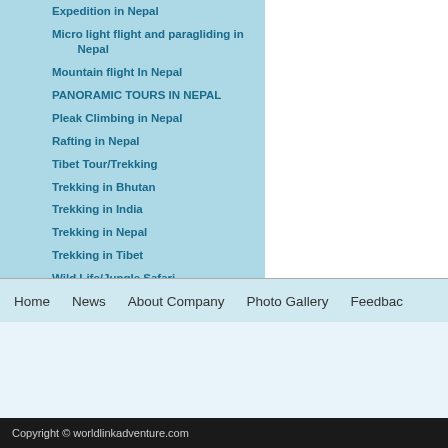Expedition in Nepal
Micro light flight and paragliding in Nepal
Mountain flight In Nepal
PANORAMIC TOURS IN NEPAL
Pleak Climbing in Nepal
Rafting in Nepal
Tibet Tour/Trekking
Trekking in Bhutan
Trekking in India
Trekking in Nepal
Trekking in Tibet
Wild Life/Jungle Safari
Home   News   About Company   Photo Gallery   Feedbac…
Copyright © worldlinkadventure.com